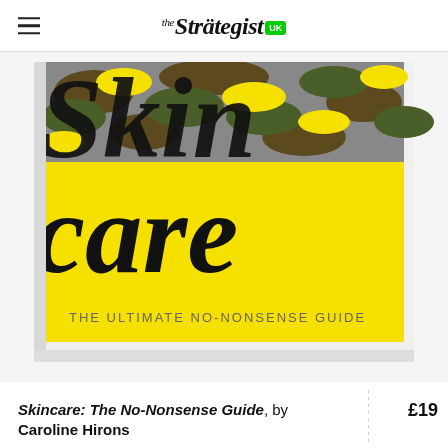the Strategist UK
[Figure (photo): Book cover of 'Skincare: The No-Nonsense Guide' by Caroline Hirons. The cover has a yellow background with large black serif text reading 'Skin care' with a camouflage pattern overlaid on the top portion of the letters. Below reads 'THE ULTIMATE NO-NONSENSE GUIDE' in grey uppercase sans-serif text.]
Skincare: The No-Nonsense Guide, by Caroline Hirons
£19